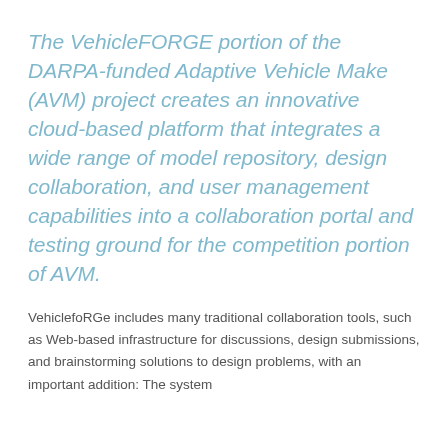The VehicleFORGE portion of the DARPA-funded Adaptive Vehicle Make (AVM) project creates an innovative cloud-based platform that integrates a wide range of model repository, design collaboration, and user management capabilities into a collaboration portal and testing ground for the competition portion of AVM.
VehiclefoRGe includes many traditional collaboration tools, such as Web-based infrastructure for discussions, design submissions, and brainstorming solutions to design problems, with an important addition: The system